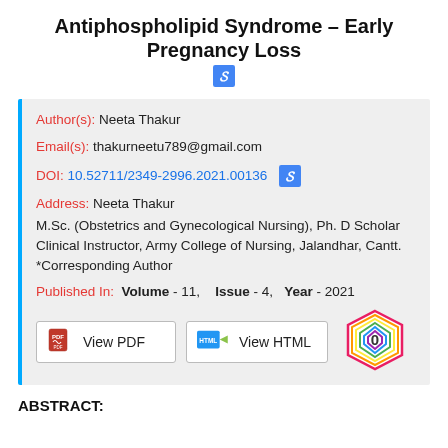Antiphospholipid Syndrome – Early Pregnancy Loss
Author(s): Neeta Thakur
Email(s): thakurneetu789@gmail.com
DOI: 10.52711/2349-2996.2021.00136
Address: Neeta Thakur
M.Sc. (Obstetrics and Gynecological Nursing), Ph. D Scholar
Clinical Instructor, Army College of Nursing, Jalandhar, Cantt.
*Corresponding Author
Published In:  Volume - 11,    Issue - 4,   Year - 2021
ABSTRACT: